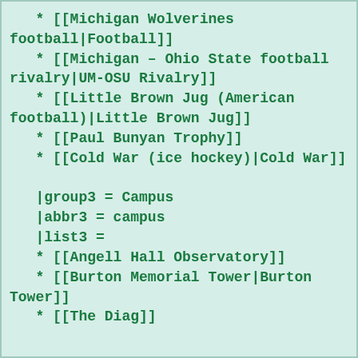* [[Michigan Wolverines football|Football]]
* [[Michigan – Ohio State football rivalry|UM-OSU Rivalry]]
* [[Little Brown Jug (American football)|Little Brown Jug]]
* [[Paul Bunyan Trophy]]
* [[Cold War (ice hockey)|Cold War]]
|group3 = Campus
|abbr3 = campus
|list3 =
* [[Angell Hall Observatory]]
* [[Burton Memorial Tower|Burton Tower]]
* [[The Diag]]